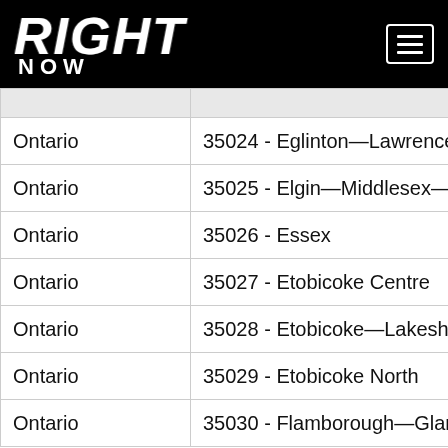RIGHT NOW
| Province | Riding |
| --- | --- |
| Ontario | 35024 - Eglinton—Lawrence |
| Ontario | 35025 - Elgin—Middlesex—Lon |
| Ontario | 35026 - Essex |
| Ontario | 35027 - Etobicoke Centre |
| Ontario | 35028 - Etobicoke—Lakeshore |
| Ontario | 35029 - Etobicoke North |
| Ontario | 35030 - Flamborough—Glanbr |